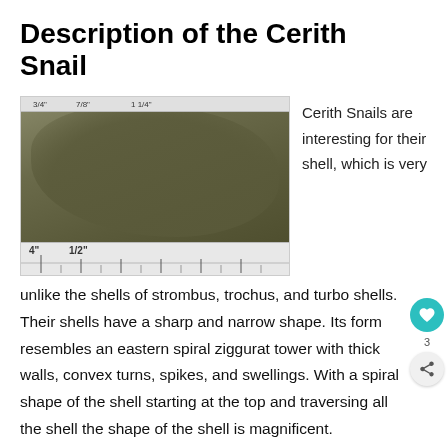Description of the Cerith Snail
[Figure (photo): Photo of multiple Cerith Snails (small dark spiral shells) arranged on a ruler showing measurements between 1/4 inch and 1/2 inch markings.]
Cerith Snails are interesting for their shell, which is very unlike the shells of strombus, trochus, and turbo shells. Their shells have a sharp and narrow shape. Its form resembles an eastern spiral ziggurat tower with thick walls, convex turns, spikes, and swellings. With a spiral shape of the shell starting at the top and traversing all the shell the shape of the shell is magnificent.